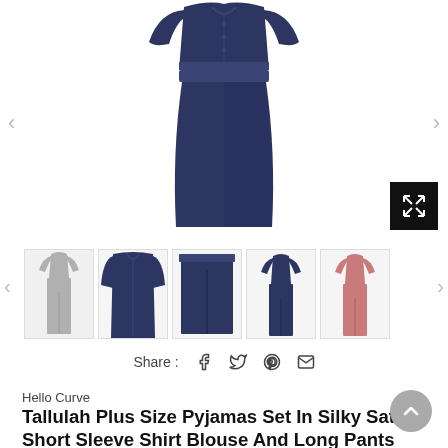[Figure (photo): Main product photo of navy blue satin pyjamas set showing shirt blouse and long wide-leg pants, displayed flat on white background. Navigation arrows on either side, expand/fullscreen button in bottom right corner.]
[Figure (photo): Row of 5 product thumbnail images: (1) grey pyjamas set, (2) navy blue shirt blouse, (3) navy blue wide-leg pants, (4) navy blue pyjamas set, (5) pink pyjamas set. Navigation arrows on either side.]
Share :
Hello Curve
Tallulah Plus Size Pyjamas Set In Silky Satin: Short Sleeve Shirt Blouse And Long Pants Set (Blue, Pink)